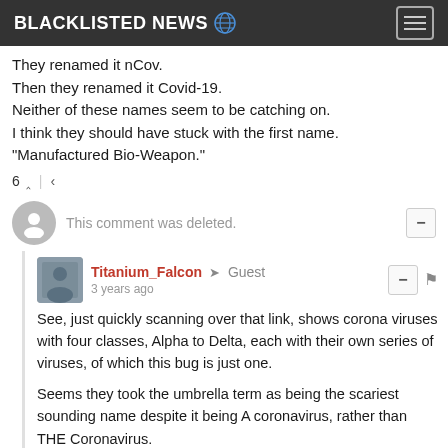BLACKLISTED NEWS
They renamed it nCov.
Then they renamed it Covid-19.
Neither of these names seem to be catching on.
I think they should have stuck with the first name.
"Manufactured Bio-Weapon."
6 ↑ | ↓
This comment was deleted.
Titanium_Falcon → Guest
3 years ago

See, just quickly scanning over that link, shows corona viruses with four classes, Alpha to Delta, each with their own series of viruses, of which this bug is just one.

Seems they took the umbrella term as being the scariest sounding name despite it being A coronavirus, rather than THE Coronavirus.

You have to think man-made.